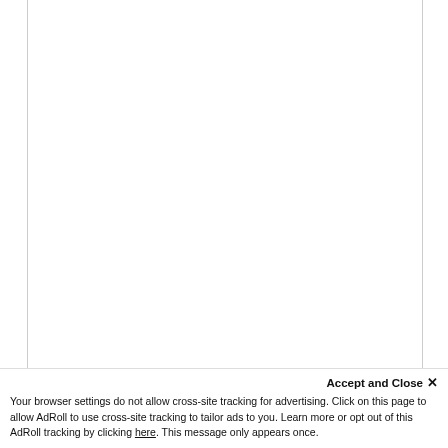[Figure (other): Document page with bordered content area; bottom section shows nested rectangular boxes (outer and inner) representing a form or ad placeholder area.]
Accept and Close ✕
Your browser settings do not allow cross-site tracking for advertising. Click on this page to allow AdRoll to use cross-site tracking to tailor ads to you. Learn more or opt out of this AdRoll tracking by clicking here. This message only appears once.